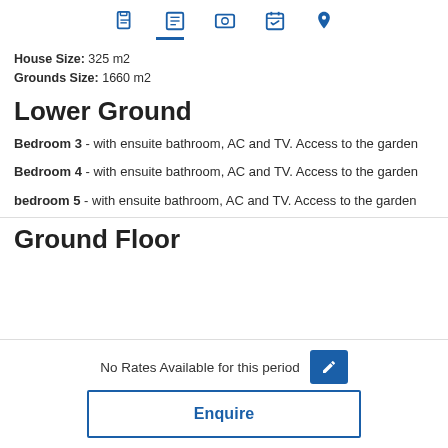[Figure (other): Navigation icons row: document, list, price-tag, calendar, map-pin — all in blue]
House Size: 325 m2
Grounds Size: 1660 m2
Lower Ground
Bedroom 3 - with ensuite bathroom, AC and TV. Access to the garden
Bedroom 4 - with ensuite bathroom, AC and TV. Access to the garden
bedroom 5 - with ensuite bathroom, AC and TV. Access to the garden
Ground Floor
No Rates Available for this period
Enquire